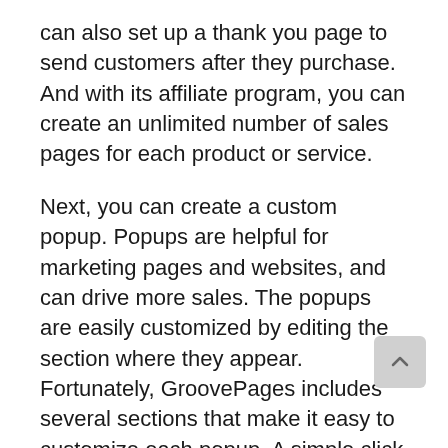can also set up a thank you page to send customers after they purchase. And with its affiliate program, you can create an unlimited number of sales pages for each product or service.
Next, you can create a custom popup. Popups are helpful for marketing pages and websites, and can drive more sales. The popups are easily customized by editing the section where they appear. Fortunately, GroovePages includes several sections that make it easy to customize each popup. A simple click can create a stunning popup. You can even add a nifty little popup to your landing page.
Another advantage of GrooveFunnels is its